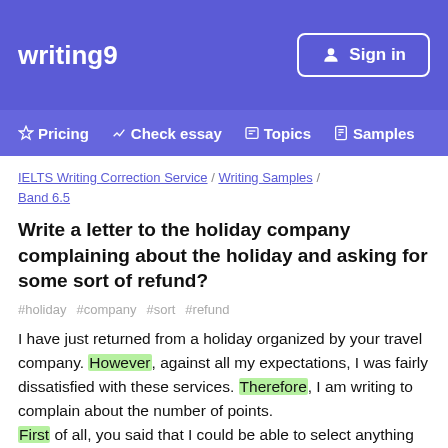writing9  Sign in  ◇ Pricing  ∧ Check essay  ☐ Topics  ☐ Samples
IELTS Writing Correction Service / Writing Samples / Band 6.5
Write a letter to the holiday company complaining about the holiday and asking for some sort of refund?
#holiday  #company  #sort  #refund
I have just returned from a holiday organized by your travel company. However, against all my expectations, I was fairly dissatisfied with these services. Therefore, I am writing to complain about the number of points. First of all, you said that I could be able to select anything from a wide range of thrilling activities every day, but I only was chosen two activities each day. Also, while picking out